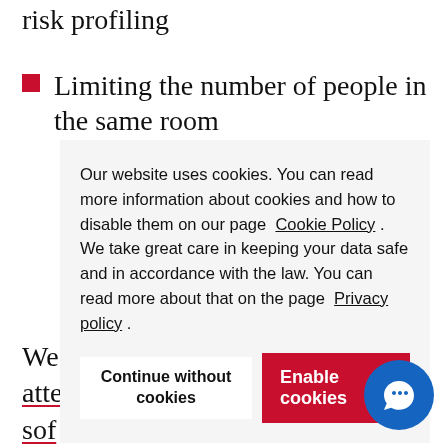risk profiling
Limiting the number of people in the same room
Our website uses cookies. You can read more information about cookies and how to disable them on our page Cookie Policy . We take great care in keeping your data safe and in accordance with the law. You can read more about that on the page Privacy policy .
Continue without cookies
Enable cookies
We
atte
sof